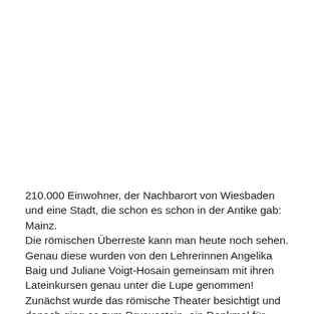210.000 Einwohner, der Nachbarort von Wiesbaden und eine Stadt, die schon es schon in der Antike gab: Mainz.
Die römischen Überreste kann man heute noch sehen. Genau diese wurden von den Lehrerinnen Angelika Baig und Juliane Voigt-Hosain gemeinsam mit ihren Lateinkursen genau unter die Lupe genommen!
Zunächst wurde das römische Theater besichtigt und danach ging es zum Drususstein, ein Denkmal für